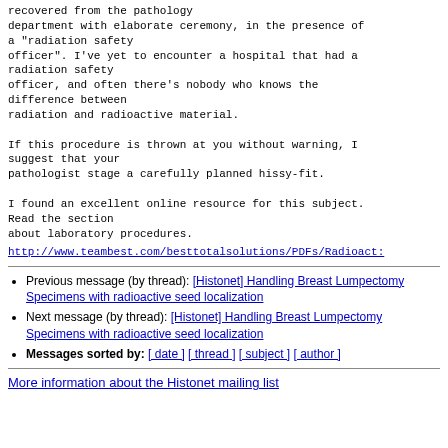recovered from the pathology
department with elaborate ceremony, in the presence of
a "radiation safety
officer". I've yet to encounter a hospital that had a
radiation safety
officer, and often there's nobody who knows the
difference between
radiation and radioactive material.

If this procedure is thrown at you without warning, I
suggest that your
pathologist stage a carefully planned hissy-fit.

I found an excellent online resource for this subject.
Read the section
about laboratory procedures.
http://www.teambest.com/besttotalsolutions/PDFs/Radioact:
Previous message (by thread): [Histonet] Handling Breast Lumpectomy Specimens with radioactive seed localization
Next message (by thread): [Histonet] Handling Breast Lumpectomy Specimens with radioactive seed localization
Messages sorted by: [ date ] [ thread ] [ subject ] [ author ]
More information about the Histonet mailing list